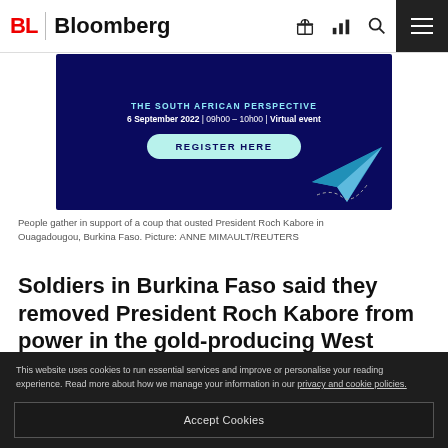Bloomberg
[Figure (photo): Advertisement banner with dark blue background showing 'THE SOUTH AFRICAN PERSPECTIVE' event on 6 September 2022 | 09h00 – 10h00 | Virtual event with a REGISTER HERE button and paper airplane graphic]
People gather in support of a coup that ousted President Roch Kabore in Ouagadougou, Burkina Faso. Picture: ANNE MIMAULT/REUTERS
Soldiers in Burkina Faso said they removed President Roch Kabore from power in the gold-producing West African nation, a putsch that drew condemnation from the UN and the US.
This website uses cookies to run essential services and improve or personalise your reading experience. Read more about how we manage your information in our privacy and cookie policies.
Accept Cookies